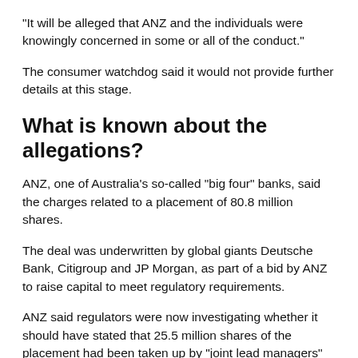"It will be alleged that ANZ and the individuals were knowingly concerned in some or all of the conduct."
The consumer watchdog said it would not provide further details at this stage.
What is known about the allegations?
ANZ, one of Australia's so-called "big four" banks, said the charges related to a placement of 80.8 million shares.
The deal was underwritten by global giants Deutsche Bank, Citigroup and JP Morgan, as part of a bid by ANZ to raise capital to meet regulatory requirements.
ANZ said regulators were now investigating whether it should have stated that 25.5 million shares of the placement had been taken up by "joint lead managers"